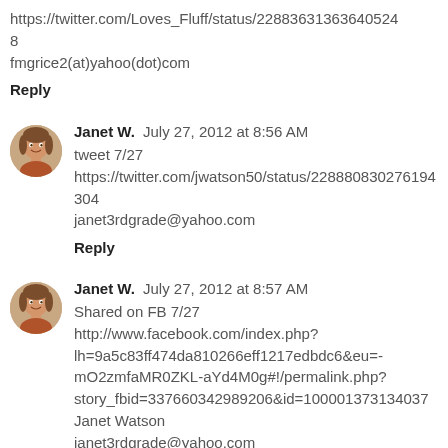https://twitter.com/Loves_Fluff/status/228836313636405248
fmgrice2(at)yahoo(dot)com
Reply
Janet W.  July 27, 2012 at 8:56 AM
tweet 7/27
https://twitter.com/jwatson50/status/228880830276194304
janet3rdgrade@yahoo.com
Reply
Janet W.  July 27, 2012 at 8:57 AM
Shared on FB 7/27
http://www.facebook.com/index.php?lh=9a5c83ff474da810266eff1217edbdc6&eu=-mO2zmfaMR0ZKL-aYd4M0g#!/permalink.php?story_fbid=337660342989206&id=100001373134037
Janet Watson
janet3rdgrade@yahoo.com